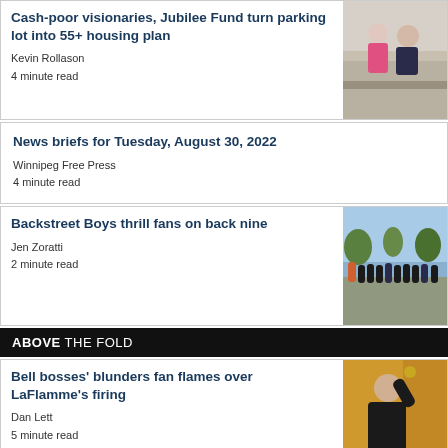Cash-poor visionaries, Jubilee Fund turn parking lot into 55+ housing plan
Kevin Rollason
4 minute read
[Figure (photo): Two people crouching outdoors near a wall]
News briefs for Tuesday, August 30, 2022
Winnipeg Free Press
4 minute read
Backstreet Boys thrill fans on back nine
Jen Zoratti
2 minute read
[Figure (photo): Group of people standing outdoors on a sunny day]
ABOVE THE FOLD
Bell bosses' blunders fan flames over LaFlamme's firing
Dan Lett
5 minute read
[Figure (photo): Person in black jacket against yellow background, raising arm]